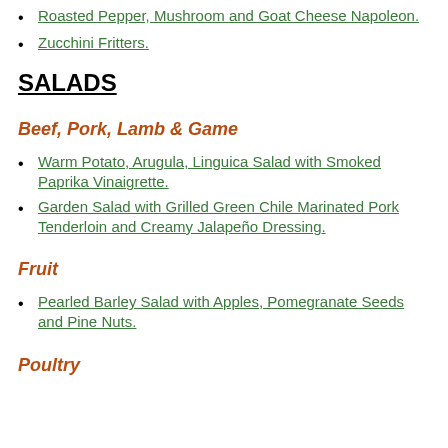Roasted Pepper, Mushroom and Goat Cheese Napoleon.
Zucchini Fritters.
SALADS
Beef, Pork, Lamb & Game
Warm Potato, Arugula, Linguica Salad with Smoked Paprika Vinaigrette.
Garden Salad with Grilled Green Chile Marinated Pork Tenderloin and Creamy Jalapeño Dressing.
Fruit
Pearled Barley Salad with Apples, Pomegranate Seeds and Pine Nuts.
Poultry